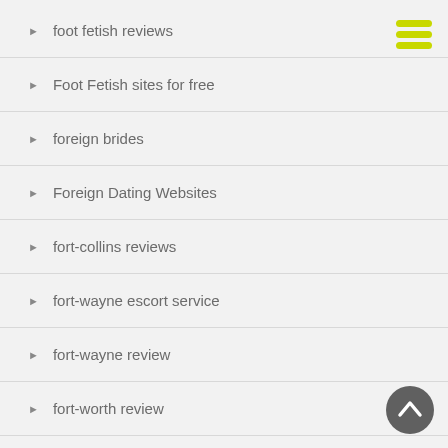[Figure (other): Yellow hamburger menu icon (three horizontal rounded rectangles) in top right corner]
foot fetish reviews
Foot Fetish sites for free
foreign brides
Foreign Dating Websites
fort-collins reviews
fort-wayne escort service
fort-wayne review
fort-worth review
[Figure (other): Dark grey circular back-to-top button with upward chevron arrow in bottom right corner]